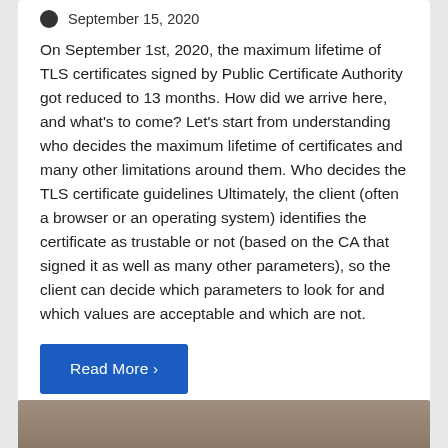September 15, 2020
On September 1st, 2020, the maximum lifetime of TLS certificates signed by Public Certificate Authority got reduced to 13 months. How did we arrive here, and what’s to come? Let’s start from understanding who decides the maximum lifetime of certificates and many other limitations around them. Who decides the TLS certificate guidelines Ultimately, the client (often a browser or an operating system) identifies the certificate as trustable or not (based on the CA that signed it as well as many other parameters), so the client can decide which parameters to look for and which values are acceptable and which are not.
Read More ›
[Figure (photo): Bottom partial image of a document or book, partially visible at the bottom of the page]